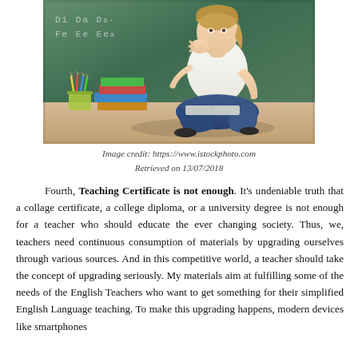[Figure (photo): A female teacher sitting on the floor in front of a chalkboard, resting her chin on her hand thoughtfully, surrounded by stacked books and a pencil cup. The chalkboard behind her shows letter writing practice (Di, Da, De, Fa, Ee, Ea). She is wearing a white top and blue jeans.]
Image credit: https://www.istockphoto.com
Retrieved on 13/07/2018
Fourth, Teaching Certificate is not enough. It’s undeniable truth that a collage certificate, a college diploma, or a university degree is not enough for a teacher who should educate the ever changing society. Thus, we, teachers need continuous consumption of materials by upgrading ourselves through various sources. And in this competitive world, a teacher should take the concept of upgrading seriously. My materials aim at fulfilling some of the needs of the English Teachers who want to get something for their simplified English Language teaching. To make this upgrading happens, modern devices like smartphones